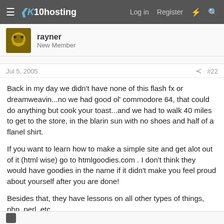x10hosting — Log in  Register
rayner
New Member
Jul 5, 2005   #22
Back in my day we didn't have none of this flash fx or dreamweavin...no we had good ol' commodore 64, that could do anything but cook your toast...and we had to walk 40 miles to get to the store, in the blarin sun with no shoes and half of a flanel shirt.
If you want to learn how to make a simple site and get alot out of it (html wise) go to htmlgoodies.com . I don't think they would have goodies in the name if it didn't make you feel proud about yourself after you are done!
Besides that, they have lessons on all other types of things, php, perl, etc.